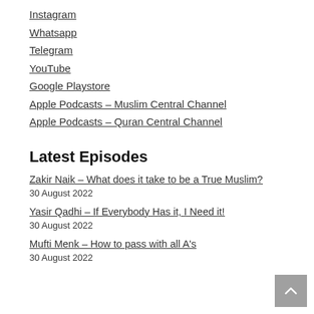Instagram
Whatsapp
Telegram
YouTube
Google Playstore
Apple Podcasts – Muslim Central Channel
Apple Podcasts – Quran Central Channel
Latest Episodes
Zakir Naik – What does it take to be a True Muslim?
30 August 2022
Yasir Qadhi – If Everybody Has it, I Need it!
30 August 2022
Mufti Menk – How to pass with all A's
30 August 2022